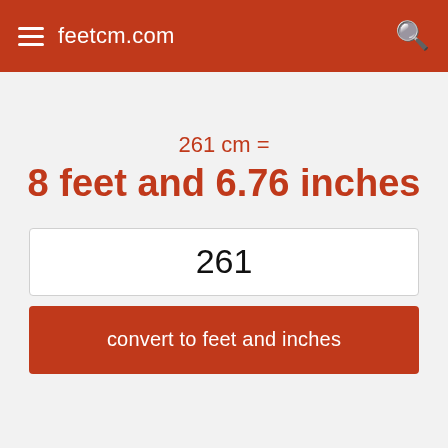feetcm.com
261 cm =
8 feet and 6.76 inches
261
convert to feet and inches